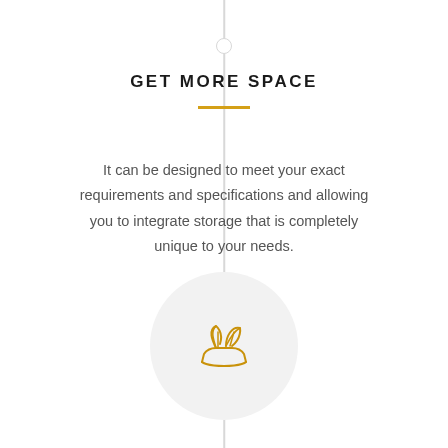GET MORE SPACE
It can be designed to meet your exact requirements and specifications and allowing you to integrate storage that is completely unique to your needs.
[Figure (illustration): A golden/yellow line-art icon of a hand holding two plant sprouts with leaves, inside a light grey circle. Part of a vertical timeline layout.]